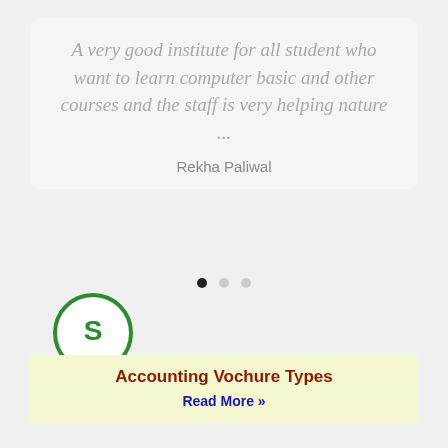A very good institute for all student who want to learn computer basic and other courses and the staff is very helping nature ...
Rekha Paliwal
[Figure (logo): Green circular logo with letter S inside]
Accounting Vochure Types
Read More »
TallyPrime Shortcut Key 4
Read More »
TallyPrime GSTR Form Details